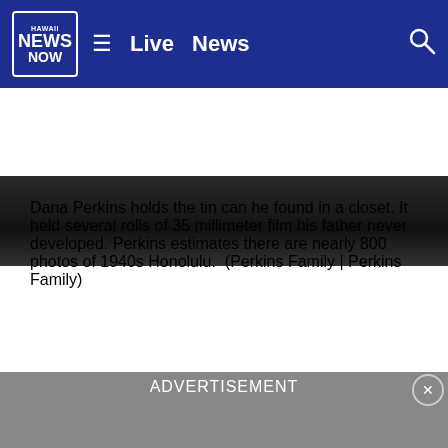Hawaii News Now — Live | News
[Figure (photo): Partial photo showing a person holding a tin can, cropped at bottom of frame, dark background]
Dana Perkins holds the tin can he found in a closet. It held several rolls of 35 millimeter film his father never developed. Perkins estimates there are nearly 800 photos of 1940s Honolulu.   (Perkins Family | Perkins Family)
[Figure (photo): Broken/unloaded image placeholder]
ADVERTISEMENT